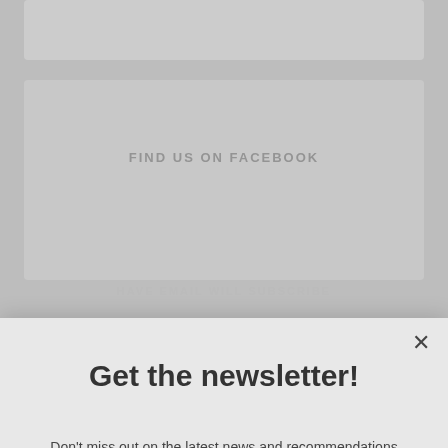[Figure (screenshot): Background webpage showing a Facebook widget area with text 'FIND US ON FACEBOOK' and underlying newsletter subscription elements]
Get the newsletter!
Don't miss out on the latest news and recommendations from Have Wheelchair Will Travel
Email
Subscribe